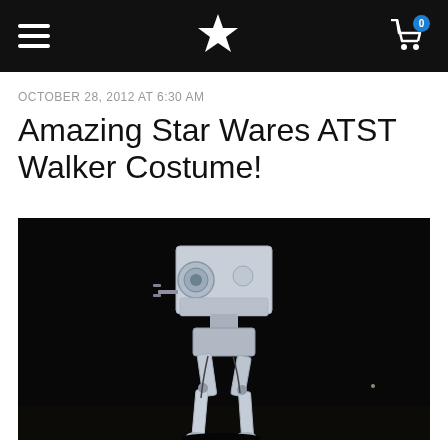Navigation bar with hamburger menu, star/flower logo, and shopping cart with badge 0
OCTOBER 28, 2012 AT 6:30 AM
Amazing Star Wares ATST Walker Costume!
[Figure (photo): Night-time photo of an AT-ST Star Wars walker costume. A person wearing a large white boxy head/body unit resembling the AT-ST vehicle from Star Wars, with articulated legs, photographed against a dark night sky background.]